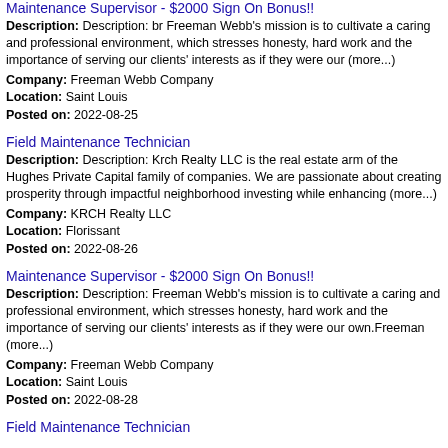Maintenance Supervisor - $2000 Sign On Bonus!!
Description: Description: br Freeman Webb's mission is to cultivate a caring and professional environment, which stresses honesty, hard work and the importance of serving our clients' interests as if they were our (more...)
Company: Freeman Webb Company
Location: Saint Louis
Posted on: 2022-08-25
Field Maintenance Technician
Description: Description: Krch Realty LLC is the real estate arm of the Hughes Private Capital family of companies. We are passionate about creating prosperity through impactful neighborhood investing while enhancing (more...)
Company: KRCH Realty LLC
Location: Florissant
Posted on: 2022-08-26
Maintenance Supervisor - $2000 Sign On Bonus!!
Description: Description: Freeman Webb's mission is to cultivate a caring and professional environment, which stresses honesty, hard work and the importance of serving our clients' interests as if they were our own.Freeman (more...)
Company: Freeman Webb Company
Location: Saint Louis
Posted on: 2022-08-28
Field Maintenance Technician